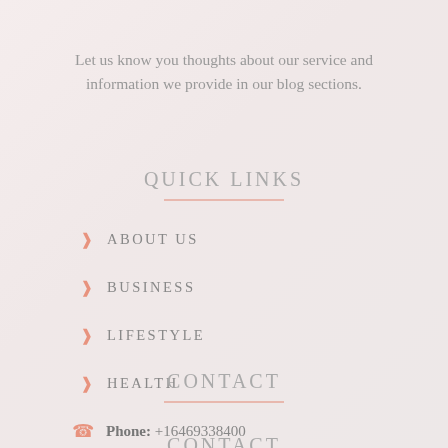Let us know you thoughts about our service and information we provide in our blog sections.
QUICK LINKS
ABOUT US
BUSINESS
LIFESTYLE
HEALTH
CONTACT
Phone: +16469338400